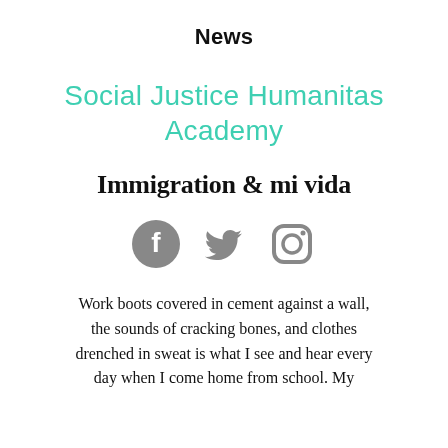News
Social Justice Humanitas Academy
Immigration & mi vida
[Figure (illustration): Three social media icons: Facebook, Twitter, Instagram]
Work boots covered in cement against a wall, the sounds of cracking bones, and clothes drenched in sweat is what I see and hear every day when I come home from school. My